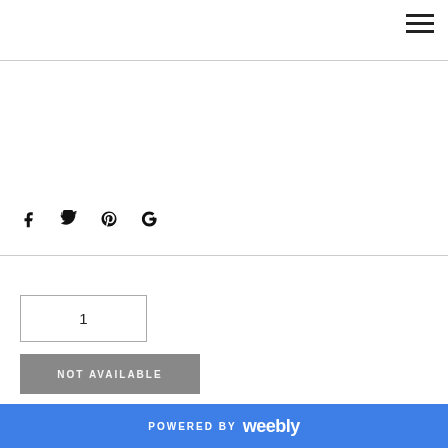[Figure (other): Hamburger menu icon (three horizontal lines) in top right corner]
[Figure (other): Social media icons row: Facebook (f), Twitter (bird), Pinterest (P), Google+ (G+)]
1
NOT AVAILABLE
POWERED BY weebly